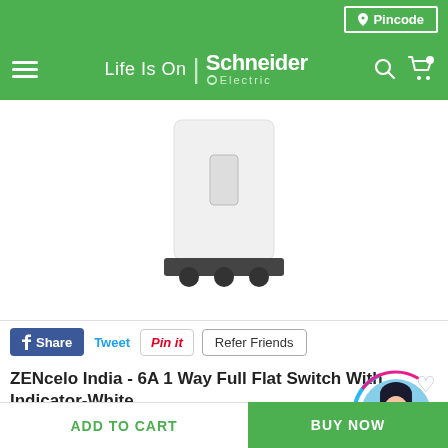Pincode
Life Is On | Schneider Electric
[Figure (photo): Product photo of a white wall switch mounted unit with roller base, shown on white background]
Share
Tweet
Pin it
Refer Friends
ZENcelo India - 6A 1 Way Full Flat Switch With Indicator-White
SKU: IN8401 • In Stock
₹373 ₹168 55% off
ADD TO CART
BUY NOW